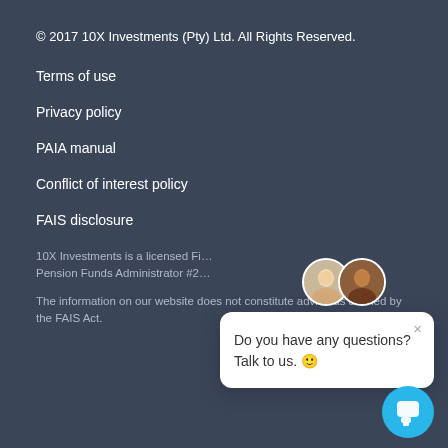© 2017 10X Investments (Pty) Ltd. All Rights Reserved.
Terms of use
Privacy policy
PAIA manual
Conflict of interest policy
FAIS disclosure
10X Investments is a licensed Fi... Pension Funds Administrator #2...
The information on our website does not constitute advice as defined by the FAIS Act.
[Figure (screenshot): Chat popup overlay with two avatars and text 'Do you have any questions? Talk to us.' with a smiley emoji, plus a circular cyan chat button in the bottom-right corner.]